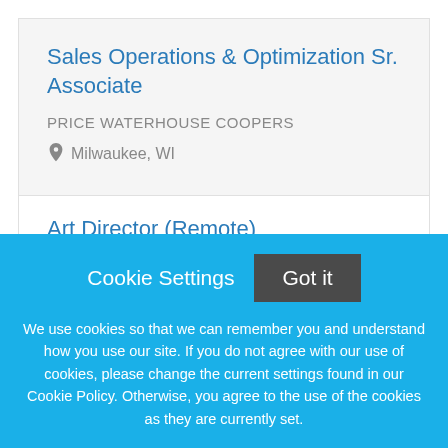Sales Operations & Optimization Sr. Associate
PRICE WATERHOUSE COOPERS
Milwaukee, WI
Art Director (Remote)
Morley Companies
Wisconsin
Cookie Settings
Got it
We use cookies so that we can remember you and understand how you use our site. If you do not agree with our use of cookies, please change the current settings found in our Cookie Policy. Otherwise, you agree to the use of the cookies as they are currently set.